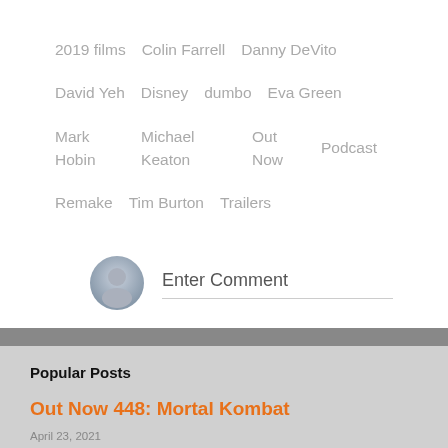2019 films
Colin Farrell
Danny DeVito
David Yeh
Disney
dumbo
Eva Green
Mark Hobin
Michael Keaton
Out Now
Podcast
Remake
Tim Burton
Trailers
Enter Comment
Popular Posts
Out Now 448: Mortal Kombat